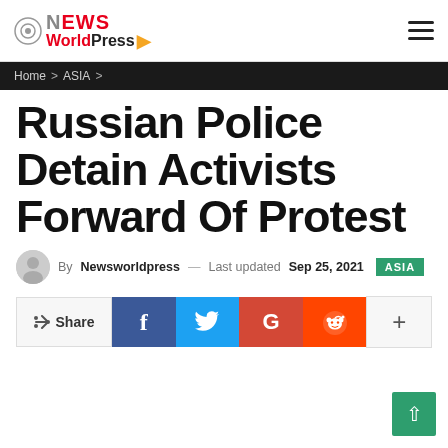NEWS WorldPress
Home > ASIA >
Russian Police Detain Activists Forward Of Protest
By Newsworldpress — Last updated Sep 25, 2021 ASIA
Share f (Facebook) (Twitter) G+ (Reddit) +